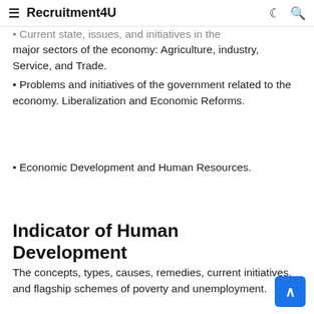≡ Recruitment4U
• Current state, issues, and initiatives in the major sectors of the economy: Agriculture, industry, Service, and Trade.
• Problems and initiatives of the government related to the economy. Liberalization and Economic Reforms.
• Economic Development and Human Resources.
Indicator of Human Development
The concepts, types, causes, remedies, current initiatives, and flagship schemes of poverty and unemployment.